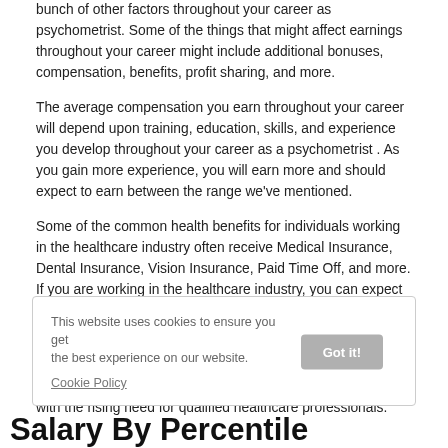bunch of other factors throughout your career as psychometrist. Some of the things that might affect earnings throughout your career might include additional bonuses, compensation, benefits, profit sharing, and more.
The average compensation you earn throughout your career will depend upon training, education, skills, and experience you develop throughout your career as a psychometrist . As you gain more experience, you will earn more and should expect to earn between the range we've mentioned.
Some of the common health benefits for individuals working in the healthcare industry often receive Medical Insurance, Dental Insurance, Vision Insurance, Paid Time Off, and more. If you are working in the healthcare industry, you can expect to receive some of the best benefits.
As with many other healthcare professions, employment projections for psychometrist are expected to rise throughout the next decade as the healthcare industry continues to deal with the rising need for qualified healthcare professionals.
This website uses cookies to ensure you get the best experience on our website. Cookie Policy
Salary By Percentile